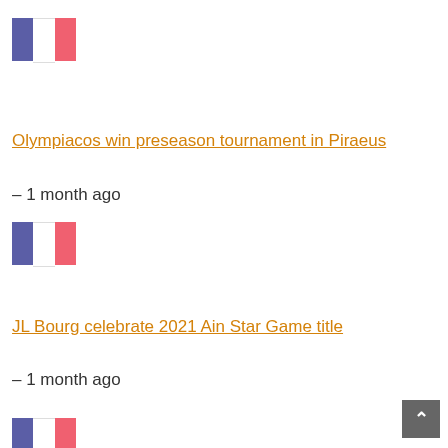[Figure (illustration): French flag icon - blue, white, red vertical stripes]
Olympiacos win preseason tournament in Piraeus
– 1 month ago
[Figure (illustration): French flag icon - blue, white, red vertical stripes]
JL Bourg celebrate 2021 Ain Star Game title
– 1 month ago
[Figure (illustration): French flag icon - blue, white, red vertical stripes (partially visible)]